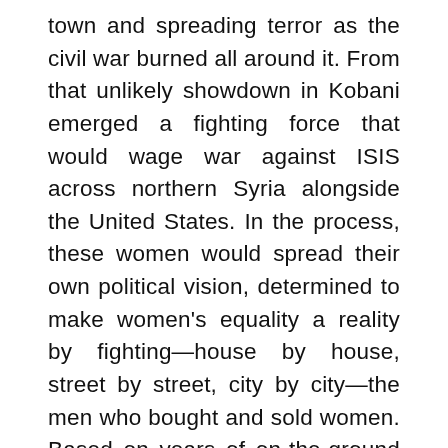town and spreading terror as the civil war burned all around it. From that unlikely showdown in Kobani emerged a fighting force that would wage war against ISIS across northern Syria alongside the United States. In the process, these women would spread their own political vision, determined to make women's equality a reality by fighting—house by house, street by street, city by city—the men who bought and sold women. Based on years of on-the-ground reporting, The Daughters of Kobani is the unforgettable story of the women of the Kurdish militia that improbably became part of the world's best hope for stopping ISIS in Syria. Drawing from hundreds of hours of interviews, bestselling author Gayle Tzemach Lemmon introduces us to the women fighting on the front lines, determined to not only extinguish the terror of ISIS but also prove that